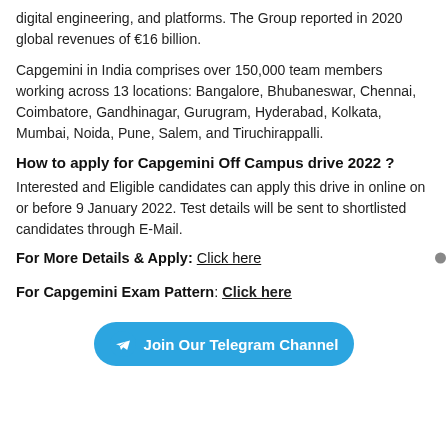digital engineering, and platforms. The Group reported in 2020 global revenues of €16 billion.
Capgemini in India comprises over 150,000 team members working across 13 locations: Bangalore, Bhubaneswar, Chennai, Coimbatore, Gandhinagar, Gurugram, Hyderabad, Kolkata, Mumbai, Noida, Pune, Salem, and Tiruchirappalli.
How to apply for Capgemini Off Campus drive 2022 ?
Interested and Eligible candidates can apply this drive in online on or before 9 January 2022. Test details will be sent to shortlisted candidates through E-Mail.
For More Details & Apply: Click here
For Capgemini Exam Pattern: Click here
[Figure (other): Blue rounded button with Telegram logo and text 'Join Our Telegram Channel']